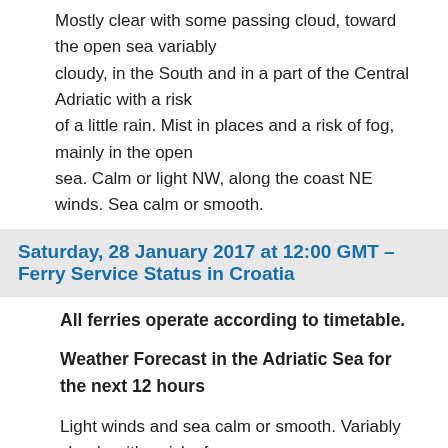Mostly clear with some passing cloud, toward the open sea variably cloudy, in the South and in a part of the Central Adriatic with a risk of a little rain. Mist in places and a risk of fog, mainly in the open sea. Calm or light NW, along the coast NE winds. Sea calm or smooth.
Saturday, 28 January 2017 at 12:00 GMT – Ferry Service Status in Croatia
All ferries operate according to timetable.
Weather Forecast in the Adriatic Sea for the next 12 hours
Light winds and sea calm or smooth. Variably cloudy with a risk of drizzle in the open sea and with light scattered rain in the southern